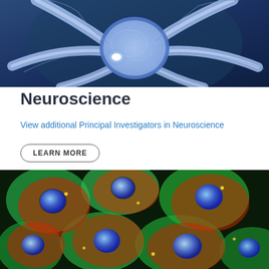[Figure (photo): Close-up 3D illustration of a blue glowing neuron cell with multiple dendrites against a dark blue background]
Neuroscience
View additional Principal Investigators in Neuroscience
LEARN MORE
[Figure (photo): Fluorescence microscopy image showing multiple cells stained in red, green, and blue colors]